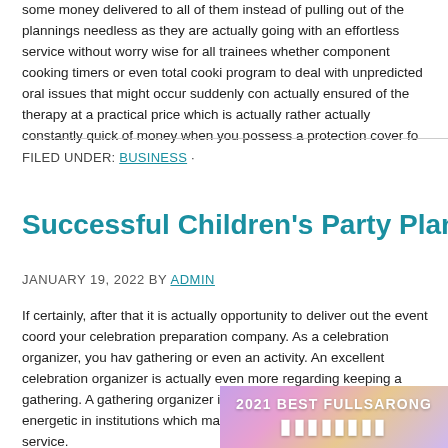some money delivered to all of them instead of pulling out of the plannings needless as they are actually going with an effortless service without worry wise for all trainees whether component cooking timers or even total cookin program to deal with unpredicted oral issues that might occur suddenly con actually ensured of the therapy at a practical price which is actually rather actually constantly quick of money when you possess a protection cover fo
FILED UNDER: BUSINESS ·
Successful Children's Party Planning – Bouncy C
JANUARY 19, 2022 BY ADMIN
If certainly, after that it is actually opportunity to deliver out the event coord your celebration preparation company. As a celebration organizer, you hav gathering or even an activity. An excellent celebration organizer is actually even more regarding keeping a gathering. A gathering organizer is actually media to be actually energetic in institutions which may assist you begin an organizing service.
[Figure (infographic): Banner with gradient purple/pink/orange background showing '2021 BEST FULLSARONG' text with large white bold letters below]